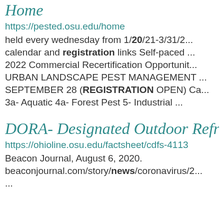Home
https://pested.osu.edu/home
held every wednesday from 1/20/21-3/31/2... calendar and registration links Self-paced ... 2022 Commercial Recertification Opportunit... URBAN LANDSCAPE PEST MANAGEMENT SEPTEMBER 28 (REGISTRATION OPEN) Ca... 3a- Aquatic 4a- Forest Pest 5- Industrial ...
DORA- Designated Outdoor Refreshm...
https://ohioline.osu.edu/factsheet/cdfs-4113
Beacon Journal, August 6, 2020. beaconjournal.com/story/news/coronavirus/2... ...